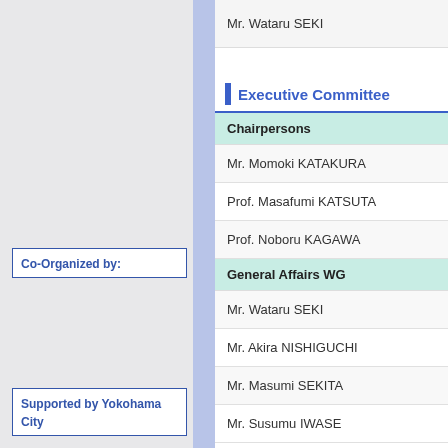Mr. Wataru SEKI
Executive Committee
Co-Organized by:
Supported by Yokohama City
| Chairpersons |
| Mr. Momoki KATAKURA |
| Prof. Masafumi KATSUTA |
| Prof. Noboru KAGAWA |
| General Affairs WG |
| Mr. Wataru SEKI |
| Mr. Akira NISHIGUCHI |
| Mr. Masumi SEKITA |
| Mr. Susumu IWASE |